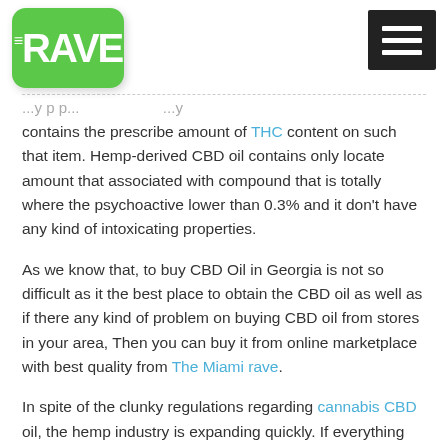RAVE (Miami Rave logo) with hamburger menu
contains the prescribe amount of THC content on such that item. Hemp-derived CBD oil contains only locate amount that associated with compound that is totally where the psychoactive lower than 0.3% and it don't have any kind of intoxicating properties.
As we know that, to buy CBD Oil in Georgia is not so difficult as it the best place to obtain the CBD oil as well as if there any kind of problem on buying CBD oil from stores in your area, Then you can buy it from online marketplace with best quality from The Miami rave.
In spite of the clunky regulations regarding cannabis CBD oil, the hemp industry is expanding quickly. If everything gets into the right direction, we might soon